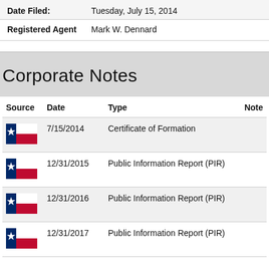| Field | Value |
| --- | --- |
| Date Filed: | Tuesday, July 15, 2014 |
| Registered Agent | Mark W. Dennard |
Corporate Notes
| Source | Date | Type | Note |
| --- | --- | --- | --- |
| [TX flag] | 7/15/2014 | Certificate of Formation |  |
| [TX flag] | 12/31/2015 | Public Information Report (PIR) |  |
| [TX flag] | 12/31/2016 | Public Information Report (PIR) |  |
| [TX flag] | 12/31/2017 | Public Information Report (PIR) |  |